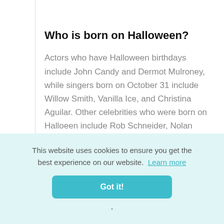[Figure (logo): Twitter bird icon (blue) and Blogger icon (orange) in top right corner]
Who is born on Halloween?
Actors who have Halloween birthdays include John Candy and Dermot Mulroney, while singers born on October 31 include Willow Smith, Vanilla Ice, and Christina Aguilar. Other celebrities who were born on Halloeen include Rob Schneider, Nolan North, Piper Perabo, and Lord of the Rings director Peter Jackson.
This website uses cookies to ensure you get the best experience on our website. Learn more
Got it!